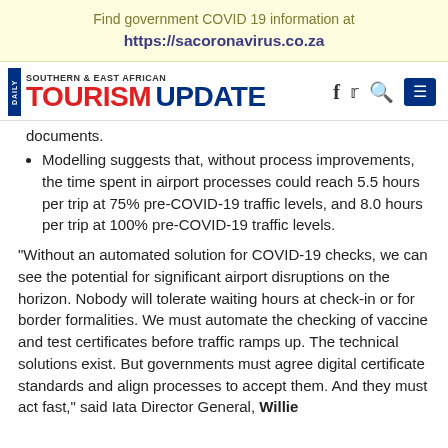Find government COVID 19 information at https://sacoronavirus.co.za
[Figure (logo): Daily Southern & East African Tourism Update logo with social media icons (f, twitter bird, search, menu)]
documents.
Modelling suggests that, without process improvements, the time spent in airport processes could reach 5.5 hours per trip at 75% pre-COVID-19 traffic levels, and 8.0 hours per trip at 100% pre-COVID-19 traffic levels.
“Without an automated solution for COVID-19 checks, we can see the potential for significant airport disruptions on the horizon. Nobody will tolerate waiting hours at check-in or for border formalities. We must automate the checking of vaccine and test certificates before traffic ramps up. The technical solutions exist. But governments must agree digital certificate standards and align processes to accept them. And they must act fast,” said Iata Director General, Willie